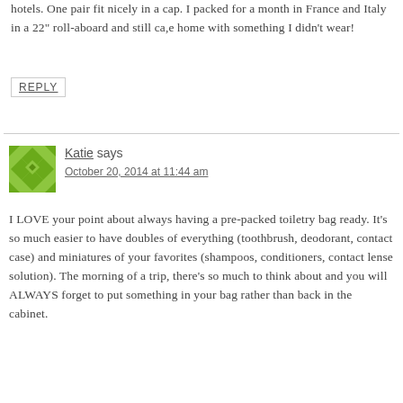hotels. One pair fit nicely in a cap. I packed for a month in France and Italy in a 22" roll-aboard and still ca,e home with something I didn't wear!
REPLY
Katie says
October 20, 2014 at 11:44 am
I LOVE your point about always having a pre-packed toiletry bag ready. It's so much easier to have doubles of everything (toothbrush, deodorant, contact case) and miniatures of your favorites (shampoos, conditioners, contact lense solution). The morning of a trip, there's so much to think about and you will ALWAYS forget to put something in your bag rather than back in the cabinet.